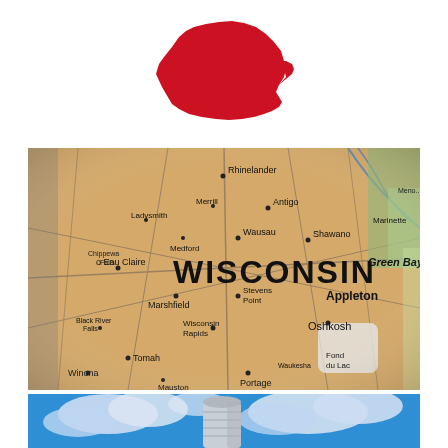[Figure (logo): Red silhouette logo resembling a state or organization shape on white background]
[Figure (map): Photograph of a Wisconsin state road map showing cities including Rhinelander, Antigo, Wausau, Shawano, Green Bay, Appleton, Oshkosh, Eau Claire, Marshfield, Stevens Point, Wisconsin Rapids, Tomah, Winona, Portage, Fond du Lac, Menominee, and other towns with highway routes overlaid on tan/beige map background]
[Figure (photo): Photograph of a grain silo against a bright blue sky with white clouds, representing Wisconsin agriculture/farming]